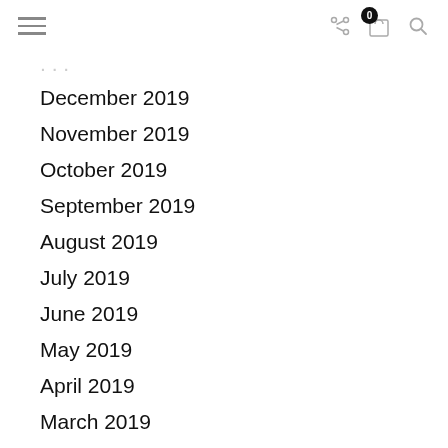[hamburger menu] [share icon] [cart: 0] [search icon]
December 2019
November 2019
October 2019
September 2019
August 2019
July 2019
June 2019
May 2019
April 2019
March 2019
February 2019